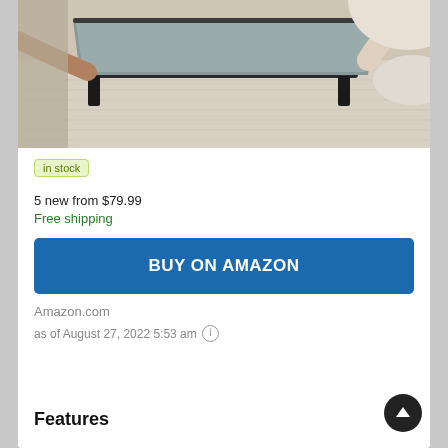[Figure (photo): Photo of a person using a laptop stand/holder on a bed, showing hands and the grey fabric/metal stand device on a textured beige surface]
in stock
5 new from $79.99
Free shipping
BUY ON AMAZON
Amazon.com
as of August 27, 2022 5:53 am
Features